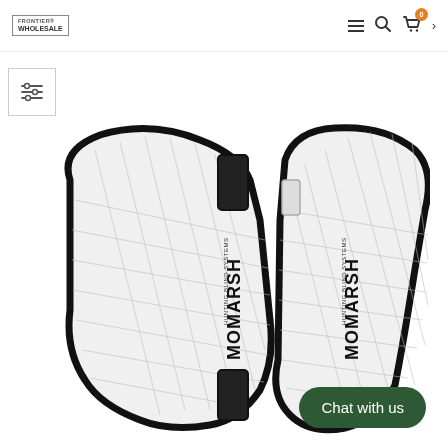Frontier Wholesale — navigation bar with logo, hamburger menu, search, cart (0), chevron
[Figure (other): Filter/sort icon button in a bordered square box]
[Figure (photo): Product image showing two MOMARSH branded hunting layout blind pads/covers with diamond-quilted white fabric and black trim, viewed from above, side by side]
Chat with us